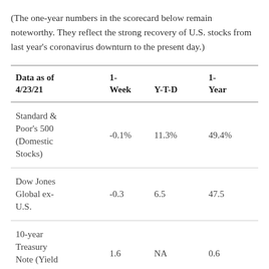(The one-year numbers in the scorecard below remain noteworthy. They reflect the strong recovery of U.S. stocks from last year's coronavirus downturn to the present day.)
| Data as of 4/23/21 | 1-Week | Y-T-D | 1-Year |
| --- | --- | --- | --- |
| Standard & Poor's 500 (Domestic Stocks) | -0.1% | 11.3% | 49.4% |
| Dow Jones Global ex-U.S. | -0.3 | 6.5 | 47.5 |
| 10-year Treasury Note (Yield Only) | 1.6 | NA | 0.6 |